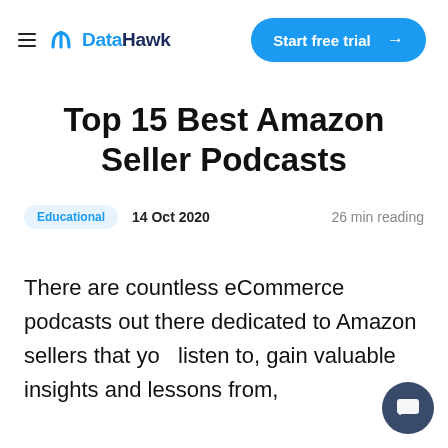DataHawk — Start free trial
Top 15 Best Amazon Seller Podcasts
Educational   14 Oct 2020   26 min reading
There are countless eCommerce podcasts out there dedicated to Amazon sellers that you listen to, gain valuable insights and lessons from,